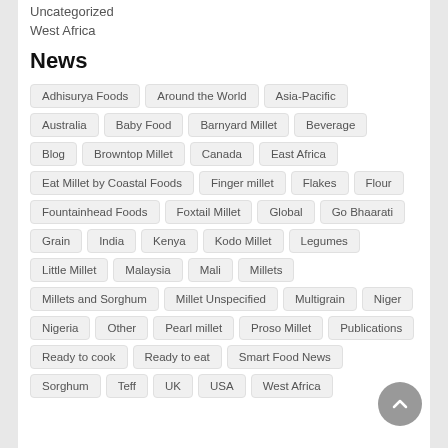Uncategorized
West Africa
News
Adhisurya Foods
Around the World
Asia-Pacific
Australia
Baby Food
Barnyard Millet
Beverage
Blog
Browntop Millet
Canada
East Africa
Eat Millet by Coastal Foods
Finger millet
Flakes
Flour
Fountainhead Foods
Foxtail Millet
Global
Go Bhaarati
Grain
India
Kenya
Kodo Millet
Legumes
Little Millet
Malaysia
Mali
Millets
Millets and Sorghum
Millet Unspecified
Multigrain
Niger
Nigeria
Other
Pearl millet
Proso Millet
Publications
Ready to cook
Ready to eat
Smart Food News
Sorghum
Teff
UK
USA
West Africa